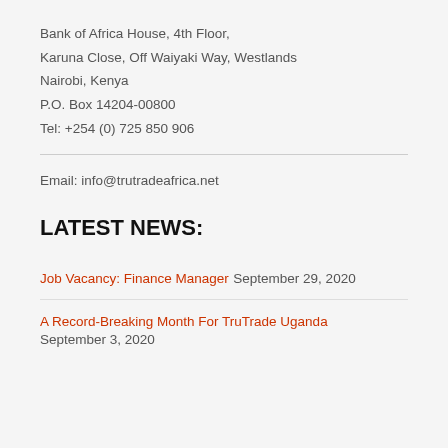Bank of Africa House, 4th Floor,
Karuna Close, Off Waiyaki Way, Westlands
Nairobi, Kenya
P.O. Box 14204-00800
Tel: +254 (0) 725 850 906
Email: info@trutradeafrica.net
LATEST NEWS:
Job Vacancy: Finance Manager September 29, 2020
A Record-Breaking Month For TruTrade Uganda September 3, 2020